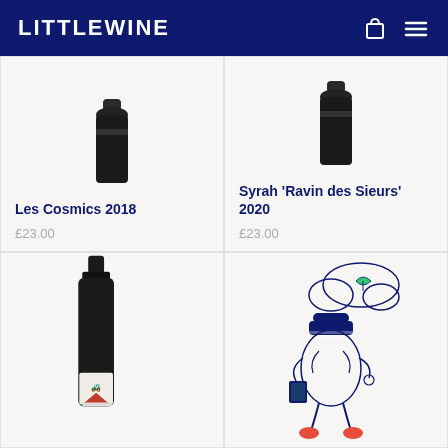LITTLEWINE
[Figure (illustration): Wine bottle top partially cut off, dark bottle against light background]
Les Cosmics 2018
£23.00
[Figure (illustration): Wine bottle top partially cut off, dark bottle against light background]
Syrah 'Ravin des Sieurs' 2020
£23.00
[Figure (photo): Red wine bottle with label showing tractor illustration and red mountain, Haut Valais style label]
[Figure (illustration): Line art illustration of a person shaped like a wine bottle, carrying a book and backpack, with cloud/leaf thought bubble above]